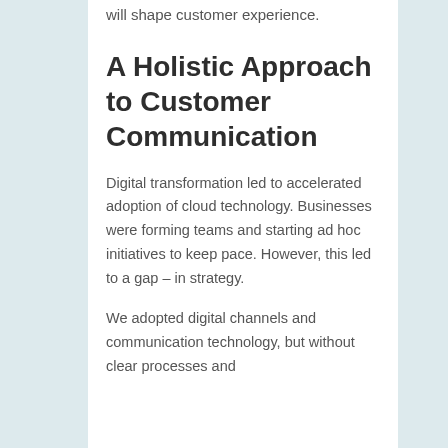will shape customer experience.
A Holistic Approach to Customer Communication
Digital transformation led to accelerated adoption of cloud technology. Businesses were forming teams and starting ad hoc initiatives to keep pace. However, this led to a gap – in strategy.
We adopted digital channels and communication technology, but without clear processes and